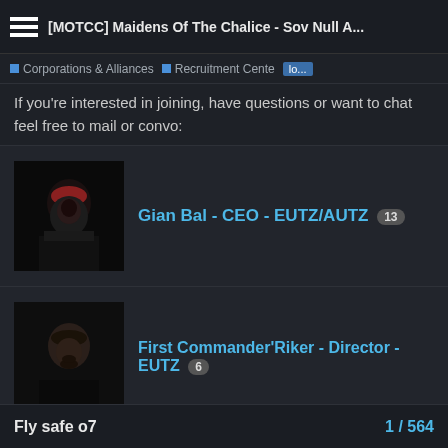[MOTCC] Maidens Of The Chalice - Sov Null A...
Corporations & Alliances  Recruitment Cente  lo...
If you're interested in joining, have questions or want to chat feel free to mail or convo:
[Figure (photo): Avatar image of a character with red hair and dark clothing (Gian Bal)]
Gian Bal - CEO - EUTZ/AUTZ  13
[Figure (photo): Avatar image of a character with dark hair and beard (First Commander'Riker)]
First Commander'Riker - Director - EUTZ  6
Or join our public/recruitment chat ingame: MOTCC Public
Fly safe o7   1 / 564